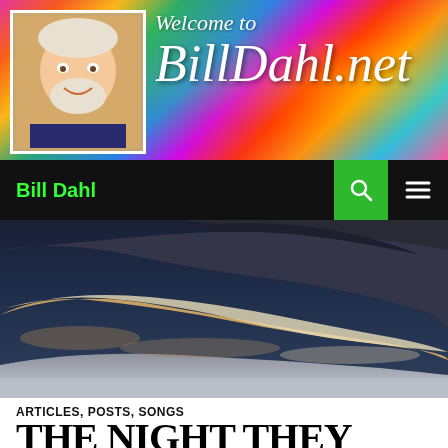[Figure (photo): Website banner header for BillDahl.net with colorful swirling paint background, a photo of Bill Dahl (older smiling man with white beard and hair) on the left, and cursive white text 'Welcome to BillDahl.net' on the right]
Bill Dahl
[Figure (photo): Dramatic sky photograph showing dark storm clouds with lighter clouds and sunlit edges against a dark blue sky]
ARTICLES, POSTS, SONGS
THE NIGHT THEY DROVE